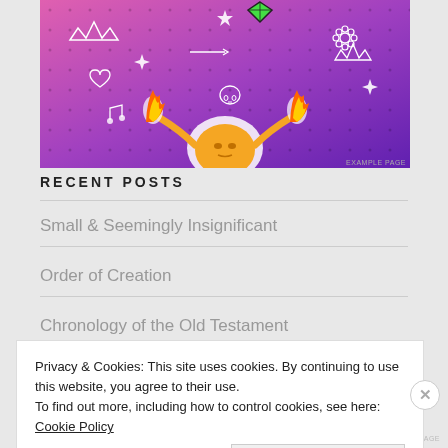[Figure (illustration): Colorful cartoon illustration of a round orange character with arms raised holding flames, on a purple dotted background with white doodles (crowns, hearts, skulls, music notes, stars, leaves)]
RECENT POSTS
Small & Seemingly Insignificant
Order of Creation
Chronology of the Old Testament
Privacy & Cookies: This site uses cookies. By continuing to use this website, you agree to their use.
To find out more, including how to control cookies, see here: Cookie Policy
Close and accept